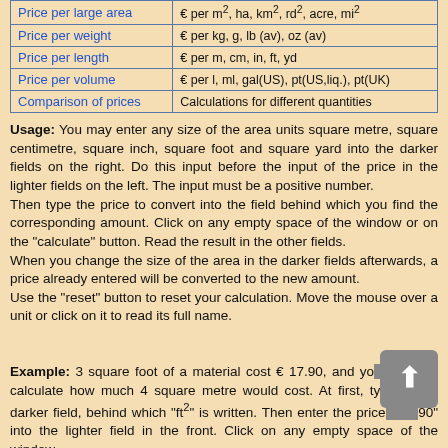|  |  |
| --- | --- |
| Price per large area | € per m², ha, km², rd², acre, mi² |
| Price per weight | € per kg, g, lb (av), oz (av) |
| Price per length | € per m, cm, in, ft, yd |
| Price per volume | € per l, ml, gal(US), pt(US,liq.), pt(UK) |
| Comparison of prices | Calculations for different quantities |
Usage: You may enter any size of the area units square metre, square centimetre, square inch, square foot and square yard into the darker fields on the right. Do this input before the input of the price in the lighter fields on the left. The input must be a positive number.
Then type the price to convert into the field behind which you find the corresponding amount. Click on any empty space of the window or on the "calculate" button. Read the result in the other fields.
When you change the size of the area in the darker fields afterwards, a price already entered will be converted to the new amount.
Use the "reset" button to reset your calculation. Move the mouse over a unit or click on it to read its full name.
Example: 3 square foot of a material cost € 17.90, and you want to calculate how much 4 square metre would cost. At first, type '3' into the darker field, behind which "ft²" is written. Then enter the price "17.90" into the lighter field in the front. Click on any empty space of the window